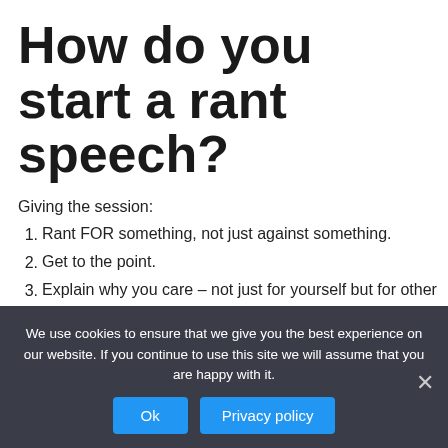How do you start a rant speech?
Giving the session:
Rant FOR something, not just against something.
Get to the point.
Explain why you care – not just for yourself but for other people, be they developers or users or society in general.
Be clear and direct.
We use cookies to ensure that we give you the best experience on our website. If you continue to use this site we will assume that you are happy with it.
Ok  Privacy policy